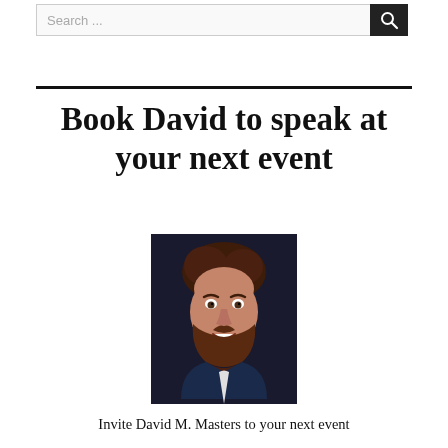Search ...
Book David to speak at your next event
[Figure (photo): Headshot of David M. Masters, a man with brown curly hair and a beard, wearing a dark suit with a light shirt, smiling at the camera against a dark background.]
Invite David M. Masters to your next event